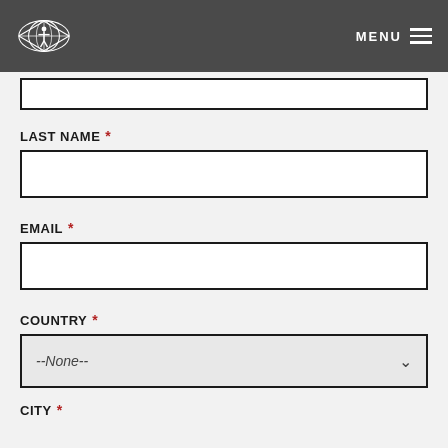MENU
LAST NAME *
EMAIL *
COUNTRY *
--None--
CITY *